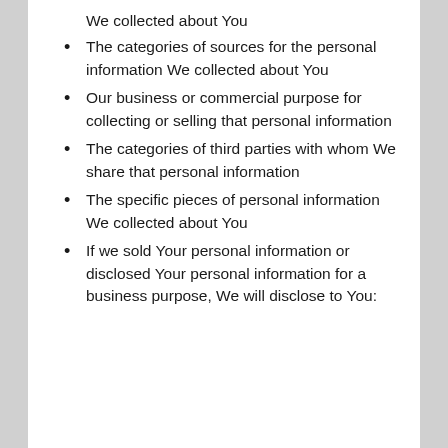We collected about You
The categories of sources for the personal information We collected about You
Our business or commercial purpose for collecting or selling that personal information
The categories of third parties with whom We share that personal information
The specific pieces of personal information We collected about You
If we sold Your personal information or disclosed Your personal information for a business purpose, We will disclose to You: